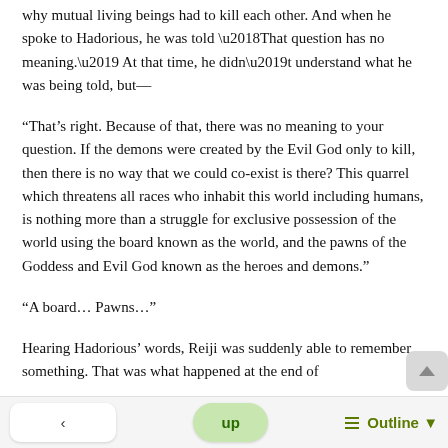why mutual living beings had to kill each other. And when he spoke to Hadorious, he was told ‘That question has no meaning.’ At that time, he didn’t understand what he was being told, but—
“That’s right. Because of that, there was no meaning to your question. If the demons were created by the Evil God only to kill, then there is no way that we could co-exist is there? This quarrel which threatens all races who inhabit this world including humans, is nothing more than a struggle for exclusive possession of the world using the board known as the world, and the pawns of the Goddess and Evil God known as the heroes and demons.”
“A board… Pawns…”
Hearing Hadorious’ words, Reiji was suddenly able to remember something. That was what happened at the end of